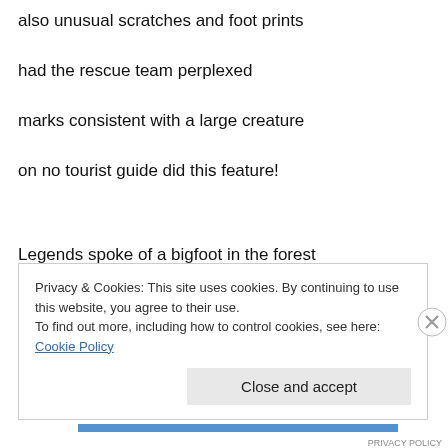also unusual scratches and foot prints
had the rescue team perplexed
marks consistent with a large creature
on no tourist guide did this feature!
Legends spoke of a bigfoot in the forest
hunters had reported seeing it
Privacy & Cookies: This site uses cookies. By continuing to use this website, you agree to their use.
To find out more, including how to control cookies, see here: Cookie Policy
Close and accept